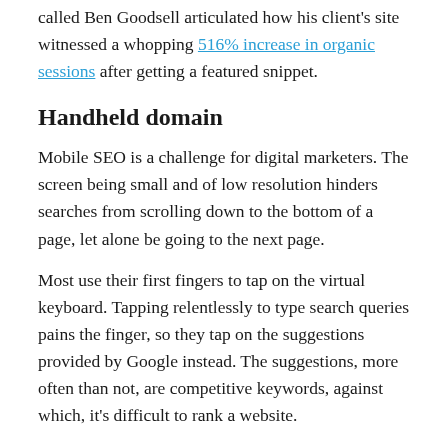called Ben Goodsell articulated how his client's site witnessed a whopping 516% increase in organic sessions after getting a featured snippet.
Handheld domain
Mobile SEO is a challenge for digital marketers. The screen being small and of low resolution hinders searches from scrolling down to the bottom of a page, let alone be going to the next page.
Most use their first fingers to tap on the virtual keyboard. Tapping relentlessly to type search queries pains the finger, so they tap on the suggestions provided by Google instead. The suggestions, more often than not, are competitive keywords, against which, it's difficult to rank a website.
The search interfaces have subtle differences. Voice search